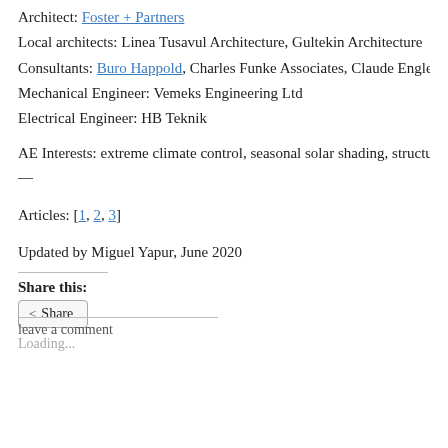Architect: Foster + Partners
Local architects: Linea Tusavul Architecture, Gultekin Architecture
Consultants: Buro Happold, Charles Funke Associates, Claude Engle, ALKAS
Mechanical Engineer: Vemeks Engineering Ltd
Electrical Engineer: HB Teknik
AE Interests: extreme climate control, seasonal solar shading, structure – talles
—
Articles: [1, 2, 3]
Updated by Miguel Yapur, June 2020
Share this:
Share
Loading...
leave a comment